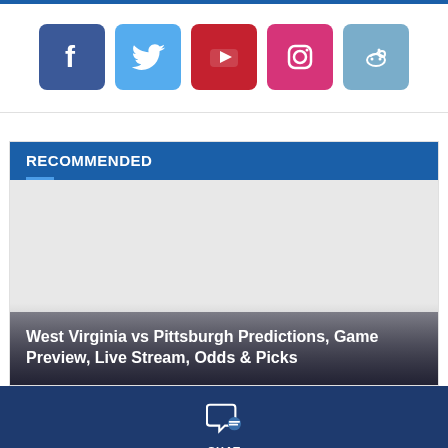[Figure (infographic): Social media icons row: Facebook (dark blue), Twitter (light blue), YouTube (red), Instagram (pink), Reddit (light blue)]
RECOMMENDED
[Figure (photo): Article card image placeholder with gradient overlay and title text: West Virginia vs Pittsburgh Predictions, Game Preview, Live Stream, Odds & Picks]
West Virginia vs Pittsburgh Predictions, Game Preview, Live Stream, Odds & Picks
[Figure (infographic): Chat icon with label CHAT in dark navy footer bar]